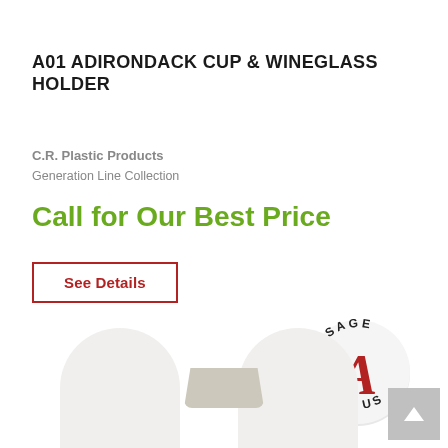A01 ADIRONDACK CUP & WINEGLASS HOLDER
C.R. Plastic Products
Generation Line Collection
Call for Our Best Price
See Details
[Figure (logo): Circular badge with text 'MESSAGE US' around the edge and a large red cursive letter A in the center, on a light gray circle background]
[Figure (photo): Product photo showing the Adirondack cup and wineglass holder accessory, beige/tan colored trapezoid-shaped holder, with white chair arms visible on either side]